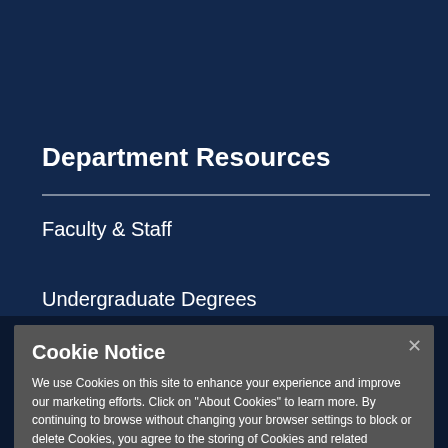Department Resources
Faculty & Staff
Undergraduate Degrees
Cookie Notice
We use Cookies on this site to enhance your experience and improve our marketing efforts. Click on "About Cookies" to learn more. By continuing to browse without changing your browser settings to block or delete Cookies, you agree to the storing of Cookies and related technologies on your device.  University of Illinois System Cookie Policy
About Cookies
Close this Notice